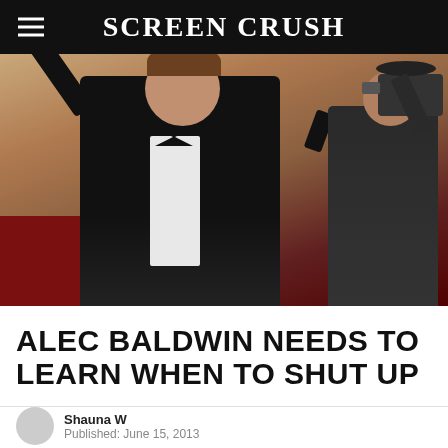Screen Crush
[Figure (photo): A man in a tuxedo raising his arm to take a selfie on a red carpet event, with a camera operator visible in the background]
ALEC BALDWIN NEEDS TO LEARN WHEN TO SHUT UP
Shauna W
Published: June 15, 2013